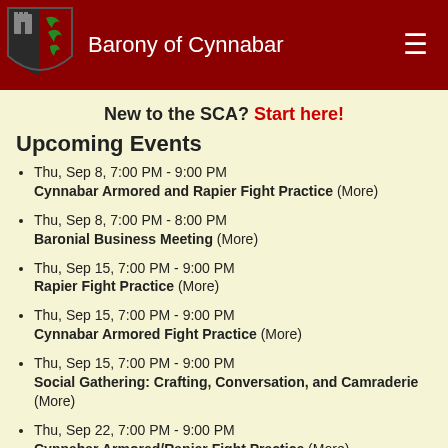Barony of Cynnabar
New to the SCA? Start here!
Upcoming Events
Thu, Sep 8, 7:00 PM - 9:00 PM Cynnabar Armored and Rapier Fight Practice (More)
Thu, Sep 8, 7:00 PM - 8:00 PM Baronial Business Meeting (More)
Thu, Sep 15, 7:00 PM - 9:00 PM Rapier Fight Practice (More)
Thu, Sep 15, 7:00 PM - 9:00 PM Cynnabar Armored Fight Practice (More)
Thu, Sep 15, 7:00 PM - 9:00 PM Social Gathering: Crafting, Conversation, and Camraderie (More)
Thu, Sep 22, 7:00 PM - 9:00 PM Cynnabar Armored/Rapier Fight Practice (More)
Thu, Sep 22, 7:00 PM - 8:00 PM Baronial Business Meeting (More)
Thu, Sep 29, 7:00 PM - 9:00 PM Cynnabar Armored Fight Practice & Monthly Tournament (More)